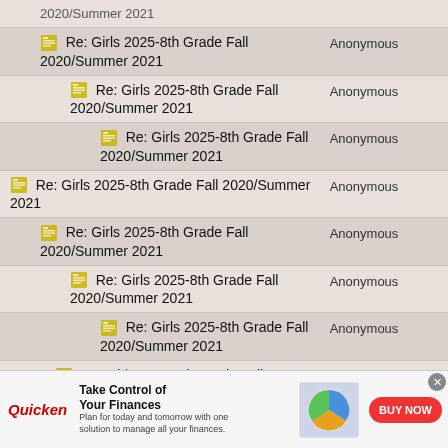| Topic | Author |  |
| --- | --- | --- |
| Re: Girls 2025-8th Grade Fall 2020/Summer 2021 | Anonymous |  |
| Re: Girls 2025-8th Grade Fall 2020/Summer 2021 | Anonymous |  |
| Re: Girls 2025-8th Grade Fall 2020/Summer 2021 | Anonymous |  |
| Re: Girls 2025-8th Grade Fall 2020/Summer 2021 | Anonymous |  |
| Re: Girls 2025-8th Grade Fall 2020/Summer 2021 | Anonymous |  |
| Re: Girls 2025-8th Grade Fall 2020/Summer 2021 | Anonymous |  |
| Re: Girls 2025-8th Grade Fall 2020/Summer 2021 | Anonymous |  |
| Re: Girls 2025-8th Grade Fall 2020/Summer 2021 | Anonymous |  |
[Figure (screenshot): Quicken advertisement banner: Take Control of Your Finances. BUY NOW button.]